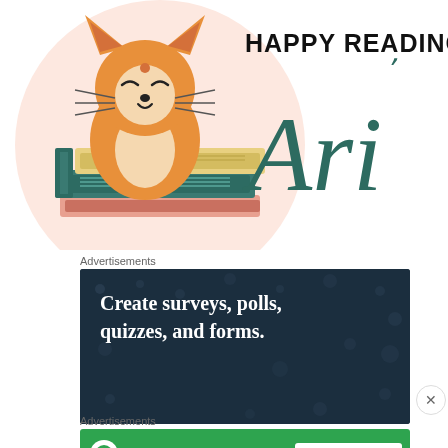[Figure (illustration): A cartoon orange cat sitting on top of a stack of teal and yellow books, inside a pink circle. Text reads 'HAPPY READING!' in bold black letters and 'Ari' in large dark teal italic cursive script.]
Advertisements
[Figure (screenshot): Dark navy blue advertisement banner with white bold text reading 'Create surveys, polls, quizzes, and forms.' with decorative dot pattern background.]
Advertisements
[Figure (screenshot): Green Jetpack advertisement banner with Jetpack logo and 'Secure Your Site' button.]